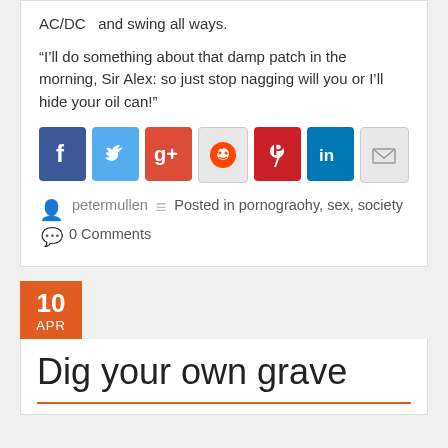AC/DC  and swing all ways.
“I’ll do something about that damp patch in the morning, Sir Alex: so just stop nagging will you or I’ll hide your oil can!”
[Figure (infographic): Social sharing icons row: Facebook (blue), Twitter (light blue), Google+ (red), Reddit (grey), Pinterest (red), LinkedIn (blue), Email (grey)]
petermullen   Posted in pornograohy, sex, society   0 Comments
[Figure (infographic): Orange date badge showing '10 APR']
Dig your own grave